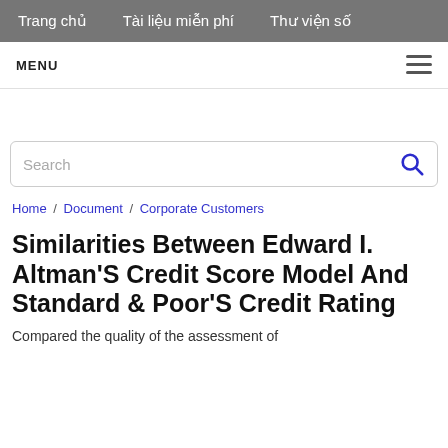Trang chủ   Tài liệu miễn phí   Thư viện số
MENU
Search
Home / Document / Corporate Customers
Similarities Between Edward I. Altman'S Credit Score Model And Standard & Poor'S Credit Rating
Compared the quality of the assessment of